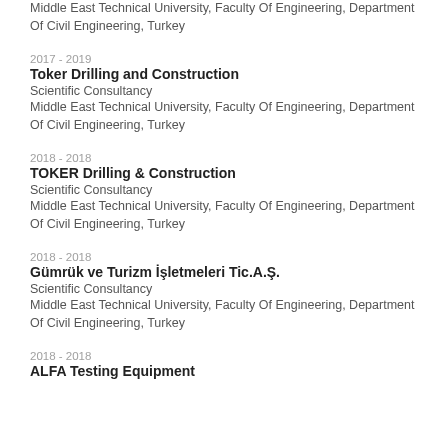Middle East Technical University, Faculty Of Engineering, Department Of Civil Engineering, Turkey
2017 - 2019
Toker Drilling and Construction
Scientific Consultancy
Middle East Technical University, Faculty Of Engineering, Department Of Civil Engineering, Turkey
2018 - 2018
TOKER Drilling & Construction
Scientific Consultancy
Middle East Technical University, Faculty Of Engineering, Department Of Civil Engineering, Turkey
2018 - 2018
Gümrük ve Turizm İşletmeleri Tic.A.Ş.
Scientific Consultancy
Middle East Technical University, Faculty Of Engineering, Department Of Civil Engineering, Turkey
2018 - 2018
ALFA Testing Equipment